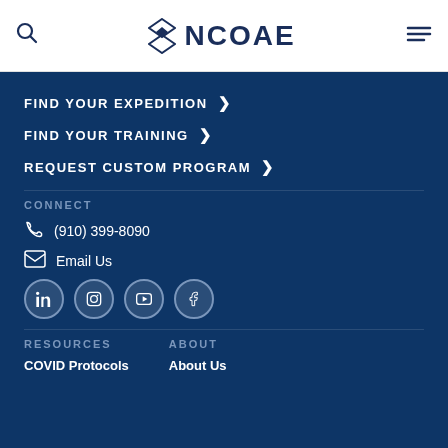NCOAE
FIND YOUR EXPEDITION
FIND YOUR TRAINING
REQUEST CUSTOM PROGRAM
CONNECT
(910) 399-8090
Email Us
[Figure (other): Social media icons: LinkedIn, Instagram, YouTube, Facebook]
RESOURCES
ABOUT
COVID Protocols
About Us